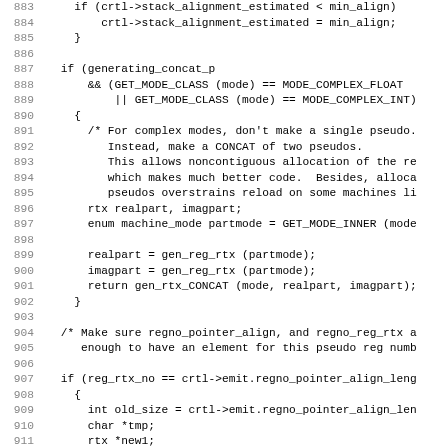[Figure (other): Source code listing in C, lines 883-914, showing code for generating pseudo registers for complex modes and resizing regno_pointer_align arrays.]